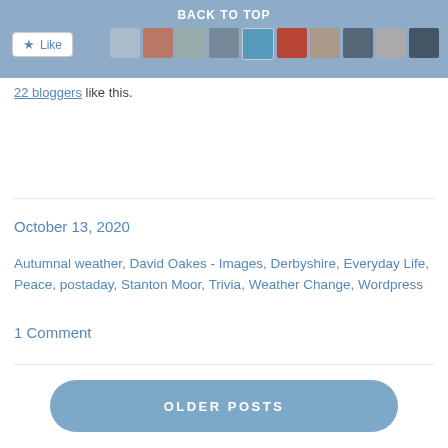[Figure (screenshot): Blog page top bar with 'BACK TO TOP' text, a Like button, and a row of avatar thumbnails]
22 bloggers like this.
October 13, 2020
Autumnal weather, David Oakes - Images, Derbyshire, Everyday Life, Peace, postaday, Stanton Moor, Trivia, Weather Change, Wordpress
1 Comment
OLDER POSTS
[Figure (screenshot): Three circular social media icon buttons]
[Figure (logo): WordPress logo icon]